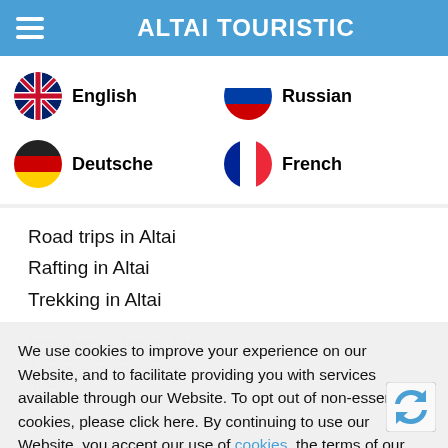ALTAI TOURISTIC
English
Russian
Deutsche
French
Road trips in Altai
Rafting in Altai
Trekking in Altai
Horseback riding in Altai
Altai mountain climbing
Blog
We use cookies to improve your experience on our Website, and to facilitate providing you with services available through our Website. To opt out of non-essential cookies, please click here. By continuing to use our Website, you accept our use of cookies, the terms of our Privacy Policy and Terms of Service.
Trans-Siberian tours
MICE